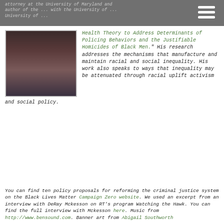attorney at the University of Maryland and author of the ... University of ...
[Figure (photo): Headshot of a man in a suit with a tie, wearing a dark maroon vest over a button-up shirt]
Health Theory to Address Determinants of Policing Behaviors and the Justifiable Homicides of Black Men." His research addresses the mechanisms that manufacture and maintain racial and social inequality. His work also speaks to ways that inequality may be attenuated through racial uplift activism and social policy.
You can find ten policy proposals for reforming the criminal justice system on the Black Lives Matter Campaign Zero website. We used an excerpt from an interview with DeRay Mckesson on RT's program Watching the Hawk. You can find the full interview with Mckesson here. Music from http://www.bensound.com. Banner art from Abigail Southworth